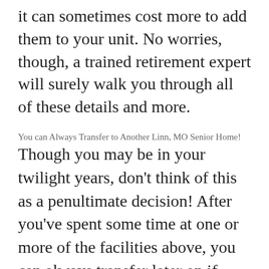it can sometimes cost more to add them to your unit. No worries, though, a trained retirement expert will surely walk you through all of these details and more.
You can Always Transfer to Another Linn, MO Senior Home!
Though you may be in your twilight years, don't think of this as a penultimate decision! After you've spent some time at one or more of the facilities above, you can always transfer later on if you're not satisfied. You won't be stuck. Everyone in Linn, MO wants you to feel at home!